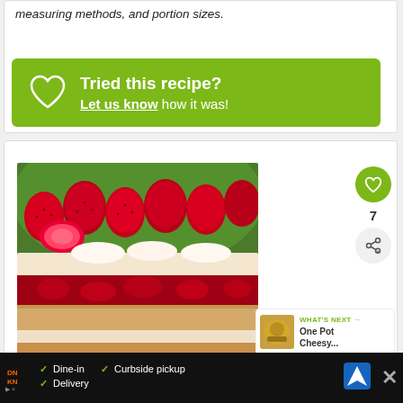measuring methods, and portion sizes.
[Figure (infographic): Green banner with heart outline icon saying 'Tried this recipe? Let us know how it was!']
[Figure (photo): Close-up photo of a strawberry shortcake/layered cake with fresh strawberries and cream]
7
WHAT'S NEXT → One Pot Cheesy...
[Figure (infographic): Advertisement bar for Dunkin' showing: Dine-in, Curbside pickup, Delivery options with checkmarks]